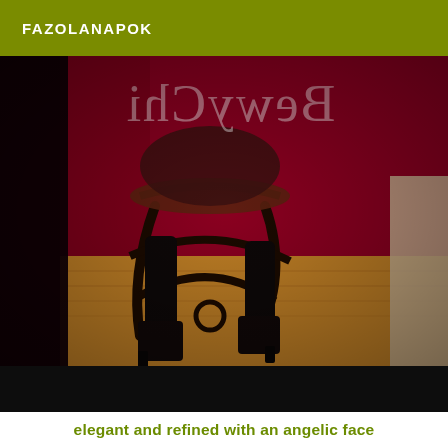FAZOLANAPOK
[Figure (photo): A dark theatrical scene showing the lower half of a person sitting on an ornate wrought-iron chair, wearing black high-heeled boots, against a deep crimson red background. A partially visible beige fabric is on the right. Reversed gothic text is visible in the upper portion of the image. The floor is wooden parquet.]
elegant and refined with an angelic face